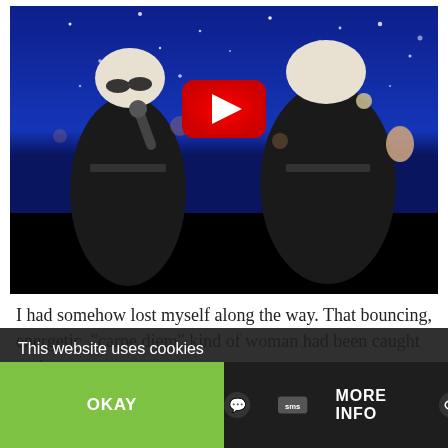[Figure (screenshot): Video thumbnail showing two women in matching black dresses and blonde bob wigs performing on stage against a starry blue background, with a YouTube play button overlay.]
I had somehow lost myself along the way. That bouncing, energetic, “carpe diem” kind of woman had been caught up in the turbulence of this life and all that was happening in the
This website uses cookies
OKAY
MORE INFO